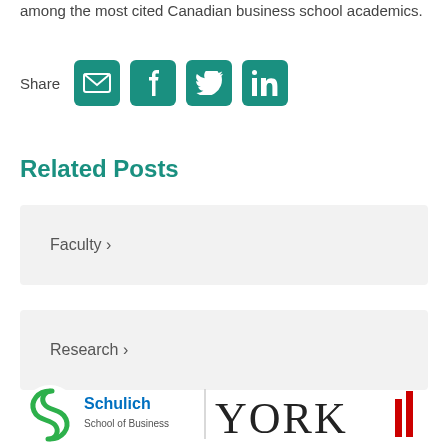among the most cited Canadian business school academics.
Share
Related Posts
Faculty ›
Research ›
[Figure (logo): Schulich School of Business | York University logo]